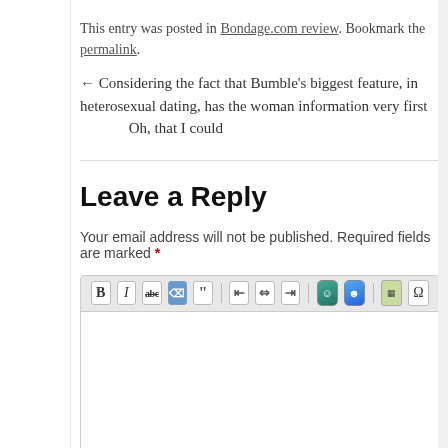This entry was posted in Bondage.com review. Bookmark the permalink.
← Considering the fact that Bumble's biggest feature, in heterosexual dating, has the woman information very first   Oh, that I could
Leave a Reply
Your email address will not be published. Required fields are marked *
[Figure (screenshot): WordPress comment editor toolbar with formatting buttons (Bold, Italic, strikethrough, erase, blockquote, align left/center/right, emoji icons, image, omega) above a blank white text area, with a gray status bar at the bottom]
Name *